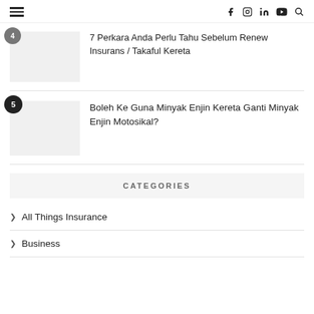Navigation header with hamburger menu and social icons (f, instagram, in, youtube, search)
7 Perkara Anda Perlu Tahu Sebelum Renew Insurans / Takaful Kereta
Boleh Ke Guna Minyak Enjin Kereta Ganti Minyak Enjin Motosikal?
CATEGORIES
All Things Insurance
Business